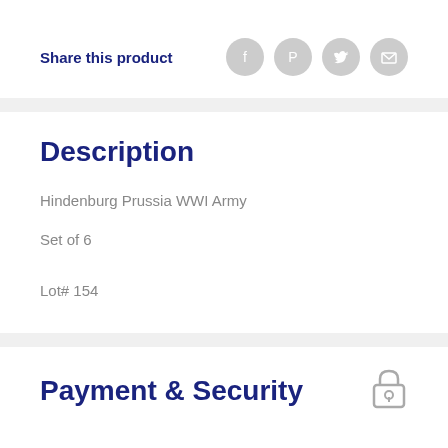Share this product
[Figure (infographic): Social media share icons: Facebook, Pinterest, Twitter, Email]
Description
Hindenburg Prussia WWI Army
Set of 6
Lot# 154
Payment & Security
[Figure (illustration): Padlock security icon]